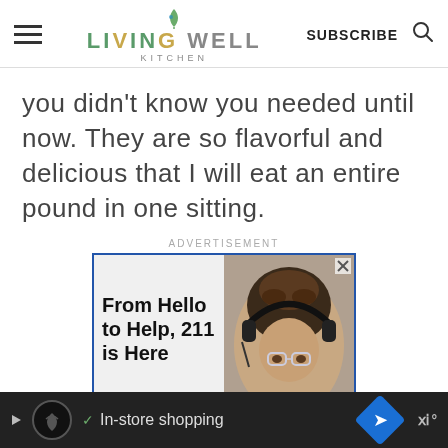LIVING WELL KITCHEN | SUBSCRIBE
you didn't know you needed until now. They are so flavorful and delicious that I will eat an entire pound in one sitting.
ADVERTISEMENT
[Figure (screenshot): Advertisement banner for 211 helpline showing text 'From Hello to Help, 211 is Here' alongside image of a woman wearing headphones and glasses]
In-store shopping